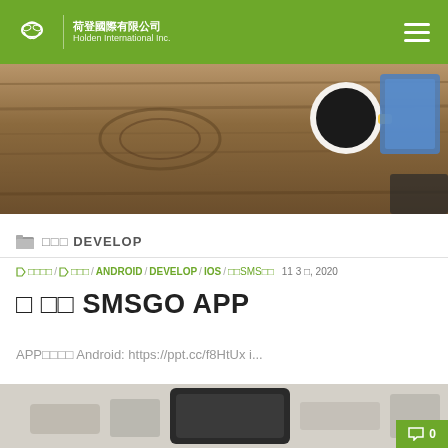荷登國際有限公司 Holden International Inc.
[Figure (photo): Hero banner showing a wooden table top with a white coffee cup with yellow handle and a blue tablet/book in the upper right corner]
■■■ DEVELOP
■ ■■■■ / ■ ■■■ / ANDROID / DEVELOP / IOS / ■■SMS■■  11 3 ■, 2020
■ ■■ SMSGO APP
APP■■■■ Android: https://ppt.cc/f8HtUx i...
[Figure (screenshot): Partial view of SMSGO app interface screenshot at the bottom of the page]